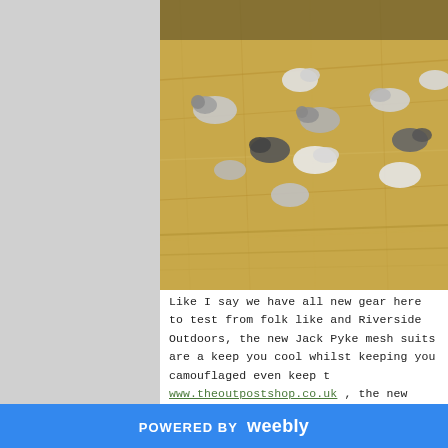[Figure (photo): A photograph showing multiple wood pigeons (shot birds) laid out on straw/hay stubble field, viewed from above]
Like I say we have all new gear here to test from folk like and Riverside Outdoors, the new Jack Pyke mesh suits are a keep you cool whilst keeping you camouflaged even keep t www.theoutpostshop.co.uk , the new full bodied and shell the best quality and realistic wood pigeon decoys I ha www.enforcerdecoys.co.uk , the new pop up hide from Rive ...it wildlife... this is available for a serious ride t
POWERED BY weebly